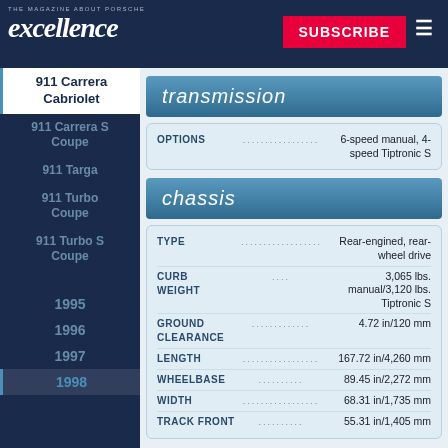excellence — THE MAGAZINE ABOUT PORSCHE
911 Carrera Cabriolet (active)
911 Carrera S Coupe
911 Targa
911 Turbo Coupe
911 Turbo S Coupe
1995
1996
1997
1998 (active)
transmission
|  |  |  |
| --- | --- | --- |
| OPTIONS | ................. | 6-speed manual, 4-speed Tiptronic S |
chassis
|  |  |  |
| --- | --- | --- |
| TYPE | ....................... | Rear-engined, rear-wheel drive |
| CURB WEIGHT | .... | 3,065 lbs. manual/3,120 lbs. Tiptronic S |
| GROUND CLEARANCE | ............. | 4.72 in/120 mm |
| LENGTH | ................... | 167.72 in/4,260 mm |
| WHEELBASE | .......... | 89.45 in/2,272 mm |
| WIDTH | ................... | 68.31 in/1,735 mm |
| TRACK FRONT | .......... | 55.31 in/1,405 mm |